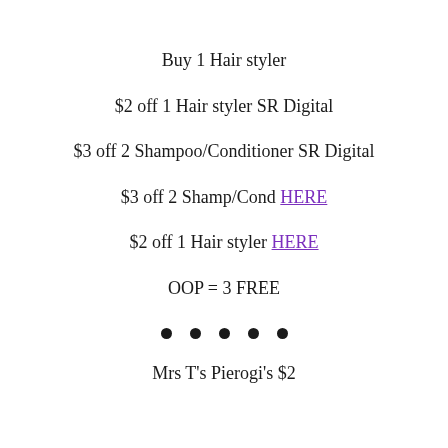Buy 1 Hair styler
$2 off 1 Hair styler SR Digital
$3 off 2 Shampoo/Conditioner SR Digital
$3 off 2 Shamp/Cond HERE
$2 off 1 Hair styler HERE
OOP = 3 FREE
• • • • •
Mrs T's Pierogi's $2